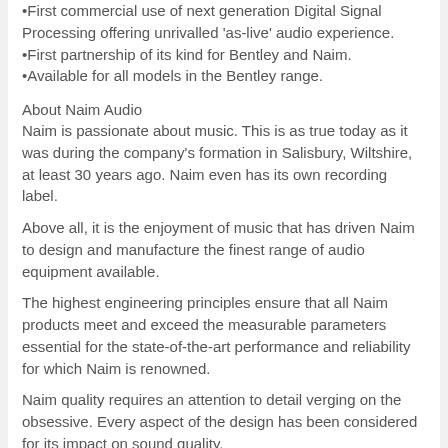•First commercial use of next generation Digital Signal Processing offering unrivalled 'as-live' audio experience.
•First partnership of its kind for Bentley and Naim.
•Available for all models in the Bentley range.
About Naim Audio
Naim is passionate about music. This is as true today as it was during the company's formation in Salisbury, Wiltshire, at least 30 years ago. Naim even has its own recording label.
Above all, it is the enjoyment of music that has driven Naim to design and manufacture the finest range of audio equipment available.
The highest engineering principles ensure that all Naim products meet and exceed the measurable parameters essential for the state-of-the-art performance and reliability for which Naim is renowned.
Naim quality requires an attention to detail verging on the obsessive. Every aspect of the design has been considered for its impact on sound quality.
Manufacturing is equally specialised: there are no production lines. Products are made by highly trained operators who understand all the techniques that make truly great products